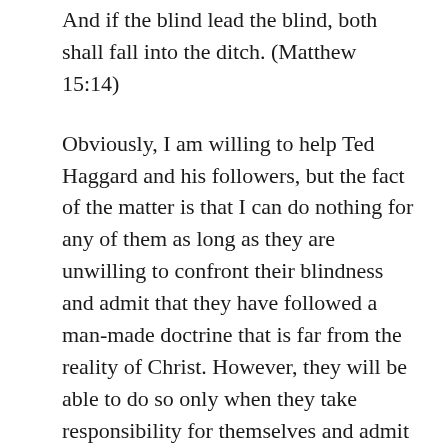And if the blind lead the blind, both shall fall into the ditch. (Matthew 15:14)
Obviously, I am willing to help Ted Haggard and his followers, but the fact of the matter is that I can do nothing for any of them as long as they are unwilling to confront their blindness and admit that they have followed a man-made doctrine that is far from the reality of Christ. However, they will be able to do so only when they take responsibility for themselves and admit that the key to salvation is not an external savior. As I explain throughout this website, the real key to salvation is to attain the Christ consciousness, which means that you must overcome the division in your own psyche—by pulling the beam in your own eye, the ego, which causes you to be a house divided against itself.
As can be seen by studying the Catholic sex abuse